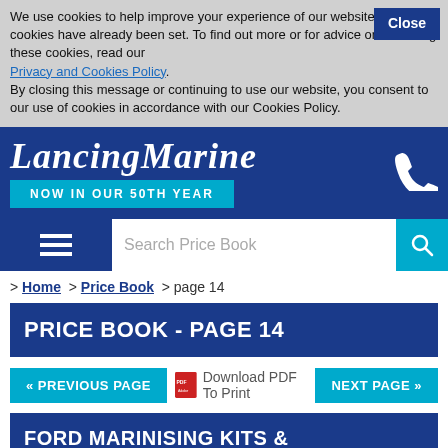We use cookies to help improve your experience of our website and cookies have already been set. To find out more or for advice on removing these cookies, read our Privacy and Cookies Policy. By closing this message or continuing to use our website, you consent to our use of cookies in accordance with our Cookies Policy.
[Figure (logo): LancingMarine logo in white italic serif font on dark blue background with teal 'NOW IN OUR 50TH YEAR' badge and phone icon]
Search Price Book
> Home > Price Book > page 14
PRICE BOOK - PAGE 14
« PREVIOUS PAGE  Download PDF To Print  NEXT PAGE »
FORD MARINISING KITS & COMPONENTS
Page Updated: 12-Nov-21